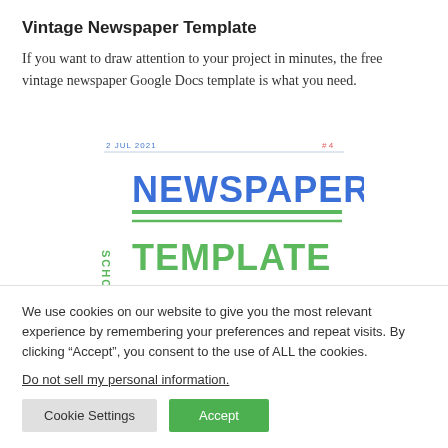Vintage Newspaper Template
If you want to draw attention to your project in minutes, the free vintage newspaper Google Docs template is what you need.
[Figure (screenshot): Preview of a vintage newspaper Google Docs template showing '2 JUL 2021' date, '#4' issue number, 'SCHOOL' vertical text in green, 'NEWSPAPER' in large blue bold text, two horizontal green lines, and 'TEMPLATE' in large green bold text below.]
We use cookies on our website to give you the most relevant experience by remembering your preferences and repeat visits. By clicking “Accept”, you consent to the use of ALL the cookies.
Do not sell my personal information.
Cookie Settings  Accept